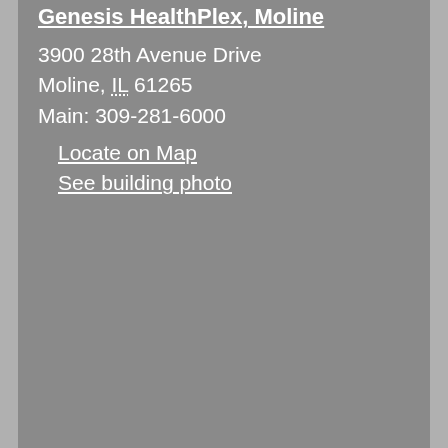Genesis HealthPlex, Moline
3900 28th Avenue Drive
Moline, IL 61265
Main: 309-281-6000
Locate on Map
See building photo
[Figure (map): Google Map showing location with Map/Satellite toggle buttons, two markers A and B, and Genesis Health Group Family Practice and Genesis Convenient Care Walk-in Clinic labels. Includes zoom +/- controls and street view pegman icon.]